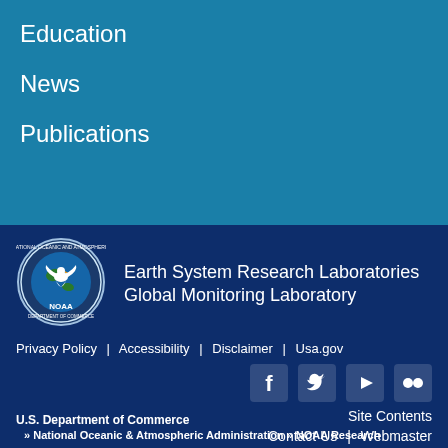Education
News
Publications
[Figure (logo): NOAA circular seal logo with eagle and globe]
Earth System Research Laboratories
Global Monitoring Laboratory
Privacy Policy | Accessibility | Disclaimer | Usa.gov
[Figure (infographic): Social media icons: Facebook, Twitter, YouTube, Flickr]
Site Contents
Contact Us | Webmaster
U.S. Department of Commerce
» National Oceanic & Atmospheric Administration  »  NOAA Research